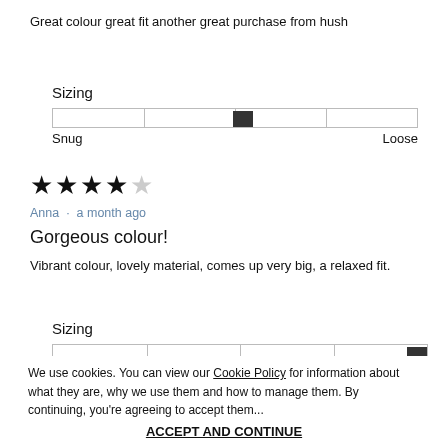Great colour great fit another great purchase from hush
Sizing
[Figure (other): Sizing slider with thumb positioned in the middle-right area between Snug and Loose labels]
Sizing
Snug    Loose
[Figure (other): 4 out of 5 stars rating]
Anna · a month ago
Gorgeous colour!
Vibrant colour, lovely material, comes up very big, a relaxed fit.
Sizing
[Figure (other): Sizing slider with thumb positioned at far right (Loose end)]
We use cookies. You can view our Cookie Policy for information about what they are, why we use them and how to manage them. By continuing, you're agreeing to accept them...
ACCEPT AND CONTINUE